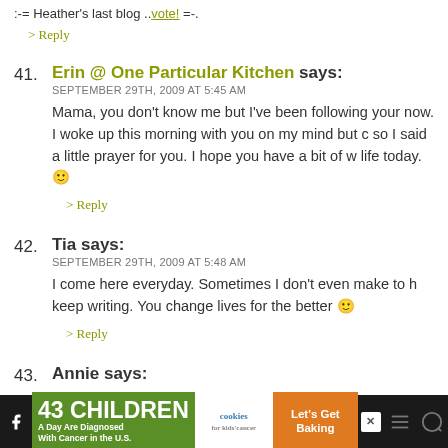:-= Heather's last blog ..vote! =-.
> Reply
41. Erin @ One Particular Kitchen says: SEPTEMBER 29TH, 2009 AT 5:45 AM
Mama, you don't know me but I've been following your now. I woke up this morning with you on my mind but c so I said a little prayer for you. I hope you have a bit of w life today. :)
> Reply
42. Tia says: SEPTEMBER 29TH, 2009 AT 5:48 AM
I come here everyday. Sometimes I don't even make to h keep writing. You change lives for the better :)
> Reply
43. Annie says:
[Figure (infographic): Advertisement banner: 43 CHILDREN A Day Are Diagnosed With Cancer in the U.S. - cookies for kids cancer - Let's Get Baking]